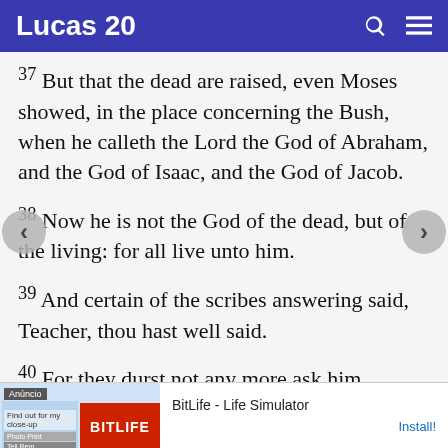Lucas 20
37 But that the dead are raised, even Moses showed, in the place concerning the Bush, when he calleth the Lord the God of Abraham, and the God of Isaac, and the God of Jacob.
38 Now he is not the God of the dead, but of the living: for all live unto him.
39 And certain of the scribes answering said, Teacher, thou hast well said.
40 For they durst not any more ask him
[Figure (screenshot): Mobile app advertisement for BitLife - Life Simulator with Install button]